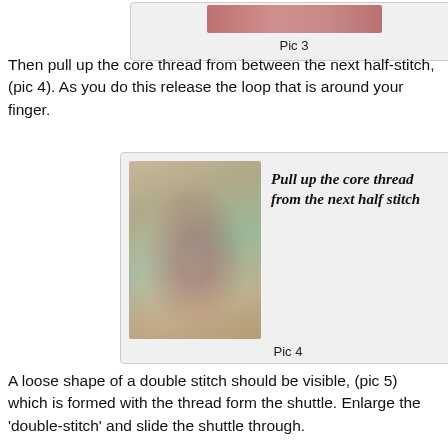Pic 3
Then pull up the core thread from between the next half-stitch, (pic 4).  As you do this release the loop that is around your finger.
[Figure (photo): Close-up photo of hand holding needle and pink thread forming a loop/double stitch on light green fabric with floral pattern. Text overlay reads: Pull up the core thread from the next half stitch]
Pic 4
A loose shape of a double stitch should be visible, (pic 5) which is formed with the thread form the shuttle.  Enlarge the 'double-stitch' and slide the shuttle through.
[Figure (photo): Partial view of fabric with pink thread forming a loop, with text: Enlarge this loop and slide]